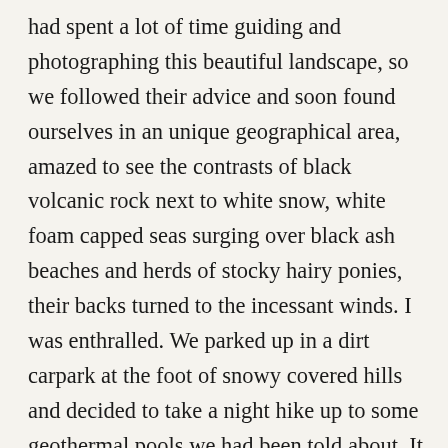had spent a lot of time guiding and photographing this beautiful landscape, so we followed their advice and soon found ourselves in an unique geographical area, amazed to see the contrasts of black volcanic rock next to white snow, white foam capped seas surging over black ash beaches and herds of stocky hairy ponies, their backs turned to the incessant winds. I was enthralled. We parked up in a dirt carpark at the foot of snowy covered hills and decided to take a night hike up to some geothermal pools we had been told about. It was simply beautiful walking up the track, dressed warmly, clear skies overhead and stillness all around. The walk was to take around two hours